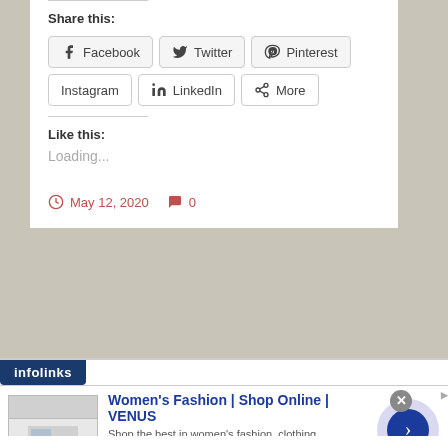Share this:
Facebook  Twitter  Pinterest  Instagram  LinkedIn  More
Like this:
Loading...
May 12, 2020   0
[Figure (screenshot): Advertisement banner: infolinks logo, Women's Fashion | Shop Online | VENUS ad with thumbnail, description 'Shop the best in women's fashion, clothing, swimwear', url venus.com, close button, next arrow button]